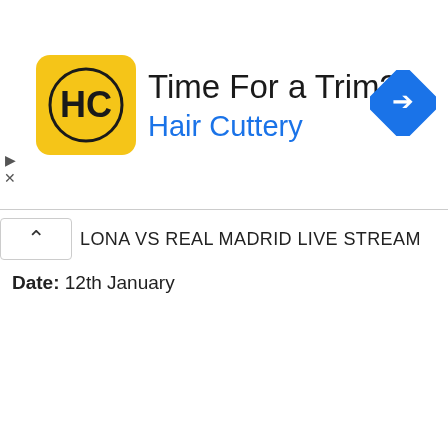[Figure (advertisement): Hair Cuttery ad banner with yellow HC logo, text 'Time For a Trim?' and 'Hair Cuttery' in blue, and a blue navigation diamond icon on the right]
LONA VS REAL MADRID LIVE STREAM
Date: 12th January